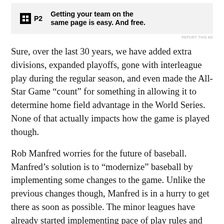[Figure (other): Advertisement banner with P2 logo and text: Getting your team on the same page is easy. And free.]
REPORT THIS AD
Sure, over the last 30 years, we have added extra divisions, expanded playoffs, gone with interleague play during the regular season, and even made the All-Star Game “count” for something in allowing it to determine home field advantage in the World Series. None of that actually impacts how the game is played though.
Rob Manfred worries for the future of baseball. Manfred’s solution is to “modernize” baseball by implementing some changes to the game. Unlike the previous changes though, Manfred is in a hurry to get there as soon as possible. The minor leagues have already started implementing pace of play rules and pitch clocks. Those rules are likely headed to MLB in the near future. Even